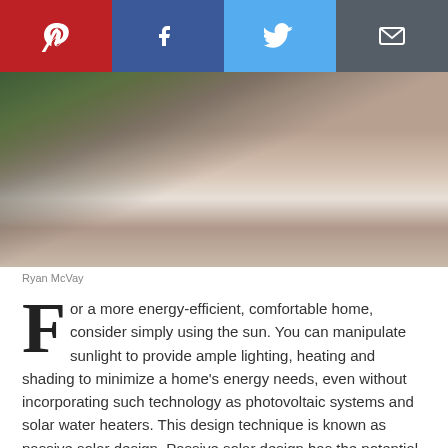[Figure (other): Social media share buttons bar: Pinterest (red), Facebook (dark blue), Twitter (light blue), Email (dark grey)]
[Figure (photo): Close-up photo of a bed with red/orange pillow and white bedding in warm sunlight, likely illustrating passive solar home comfort]
Ryan McVay
For a more energy-efficient, comfortable home, consider simply using the sun. You can manipulate sunlight to provide ample lighting, heating and shading to minimize a home's energy needs, even without incorporating such technology as photovoltaic systems and solar water heaters. This design technique is known as passive solar design. Passive solar design has the potential to minimize, even eliminate, the need for mechanical heating and cooling, as well as for daytime lighting.